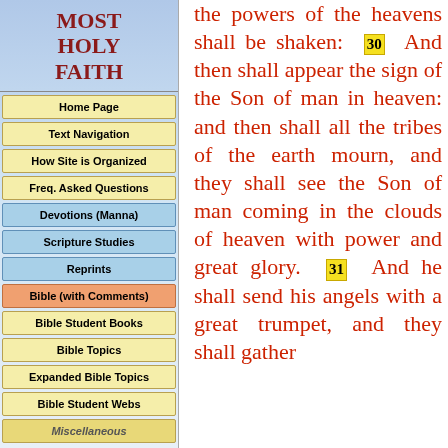MOST HOLY FAITH
Home Page
Text Navigation
How Site is Organized
Freq. Asked Questions
Devotions (Manna)
Scripture Studies
Reprints
Bible (with Comments)
Bible Student Books
Bible Topics
Expanded Bible Topics
Bible Student Webs
Miscellaneous
the powers of the heavens shall be shaken: 30 And then shall appear the sign of the Son of man in heaven: and then shall all the tribes of the earth mourn, and they shall see the Son of man coming in the clouds of heaven with power and great glory. 31 And he shall send his angels with a great trumpet, and they shall gather